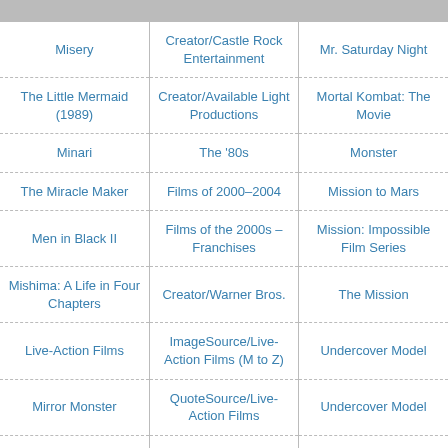| Misery | Creator/Castle Rock Entertainment | Mr. Saturday Night |
| The Little Mermaid (1989) | Creator/Available Light Productions | Mortal Kombat: The Movie |
| Minari | The '80s | Monster |
| The Miracle Maker | Films of 2000–2004 | Mission to Mars |
| Men in Black II | Films of the 2000s – Franchises | Mission: Impossible Film Series |
| Mishima: A Life in Four Chapters | Creator/Warner Bros. | The Mission |
| Live-Action Films | ImageSource/Live-Action Films (M to Z) | Undercover Model |
| Mirror Monster | QuoteSource/Live-Action Films | Undercover Model |
| Million Dollar Baby | UsefulNotes/Parents Strongly Cautioned Rating | Mission: Impossible Film Series |